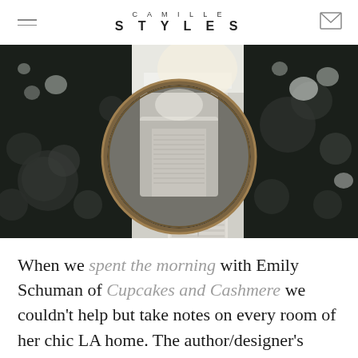CAMILLE STYLES
[Figure (photo): Interior room photo showing a round gold-framed mirror on a dark floral wallpaper wall, reflecting a white louvered closet door and ceiling with floral wallpaper]
When we spent the morning with Emily Schuman of Cupcakes and Cashmere we couldn't help but take notes on every room of her chic LA home. The author/designer's signature style is equal parts feminine and